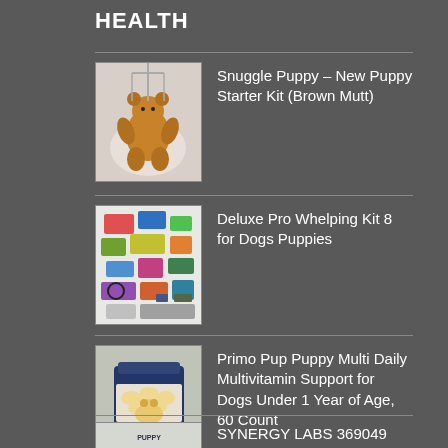HEALTH
Snuggle Puppy – New Puppy Starter Kit (Brown Mutt)
Deluxe Pro Whelping Kit 8 for Dogs Puppies
Primo Pup Puppy Multi Daily Multivitamin Support for Dogs Under 1 Year of Age, 60 Count
SYNERGY LABS 369049